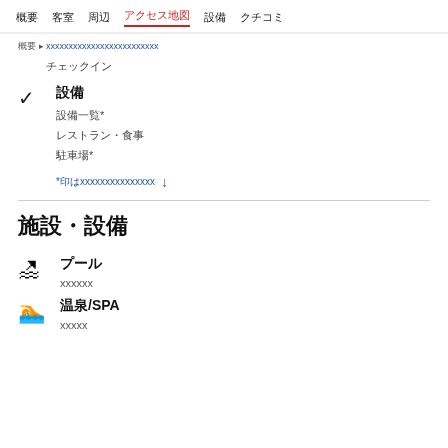概要  客室  周辺  アクセス地図  設備  クチコミ
概要 > ホテル・旅館... xxxxxxxxxxxxxxxxxx
チェックイン
設備
設備一覧*
レストラン・食事
駐車場*
*印はxxxxxxxxxxxxxxx ↓
施設・設備
プール
xxxxxx
温泉/SPA
xxxxx